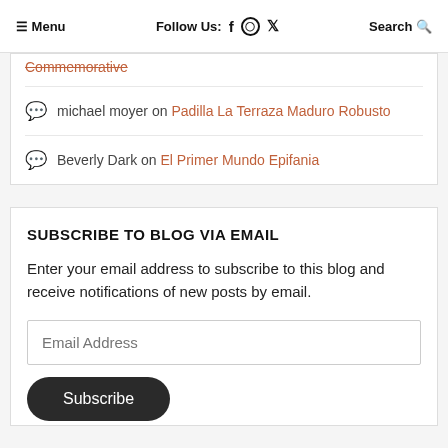≡ Menu  Follow Us: f ⊙ 🐦  Search 🔍
Commemorative
michael moyer on Padilla La Terraza Maduro Robusto
Beverly Dark on El Primer Mundo Epifania
SUBSCRIBE TO BLOG VIA EMAIL
Enter your email address to subscribe to this blog and receive notifications of new posts by email.
Email Address
Subscribe